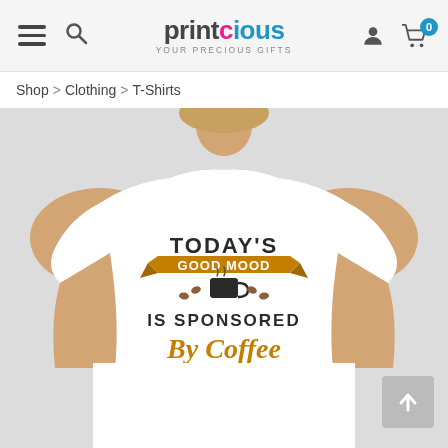printcious — YOUR PRECIOUS GIFTS — navigation header with hamburger menu, search, user icon, cart (0)
Shop > Clothing > T-Shirts
[Figure (photo): Product page screenshot showing a woman wearing a white t-shirt with the text design: "TODAY'S GOOD MOOD IS SPONSORED By Coffee" with coffee cup graphic, on the Printcious e-commerce website.]